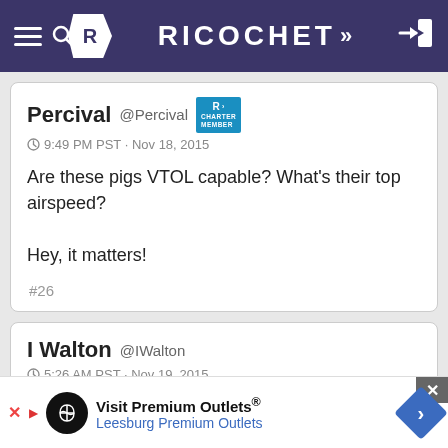Ricochet
Percival @Percival [CHARTER MEMBER] 9:49 PM PST · Nov 18, 2015

Are these pigs VTOL capable? What's their top airspeed?

Hey, it matters!

#26
I Walton @IWalton 5:26 AM PST · Nov 19, 2015
[Figure (screenshot): Ad banner for Visit Premium Outlets - Leesburg Premium Outlets with logo and directional arrow]